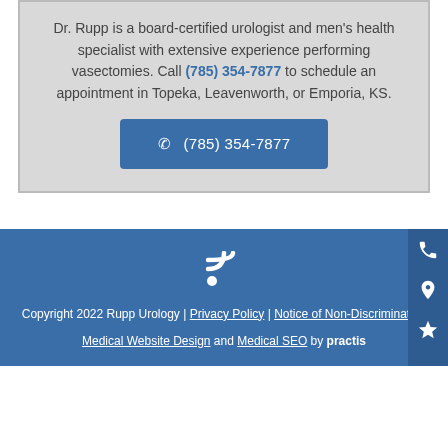Dr. Rupp is a board-certified urologist and men's health specialist with extensive experience performing vasectomies. Call (785) 354-7877 to schedule an appointment in Topeka, Leavenworth, or Emporia, KS.
☎ (785) 354-7877 [button]
Copyright 2022 Rupp Urology | Privacy Policy | Notice of Non-Discrimination
Medical Website Design and Medical SEO by practis